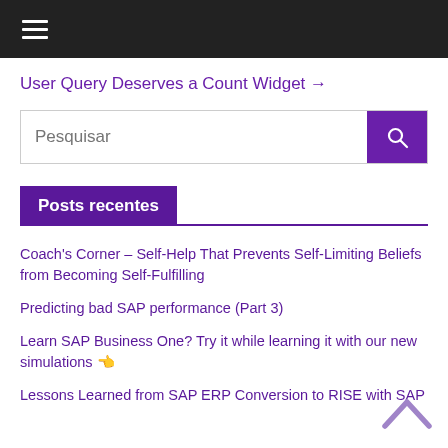≡
User Query Deserves a Count Widget →
Pesquisar
Posts recentes
Coach's Corner – Self-Help That Prevents Self-Limiting Beliefs from Becoming Self-Fulfilling
Predicting bad SAP performance (Part 3)
Learn SAP Business One? Try it while learning it with our new simulations 👈
Lessons Learned from SAP ERP Conversion to RISE with SAP